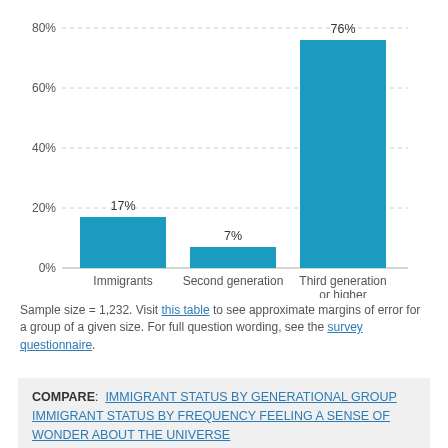[Figure (bar-chart): ]
Sample size = 1,232. Visit this table to see approximate margins of error for a group of a given size. For full question wording, see the survey questionnaire.
COMPARE: IMMIGRANT STATUS BY GENERATIONAL GROUP   IMMIGRANT STATUS BY FREQUENCY FEELING A SENSE OF WONDER ABOUT THE UNIVERSE